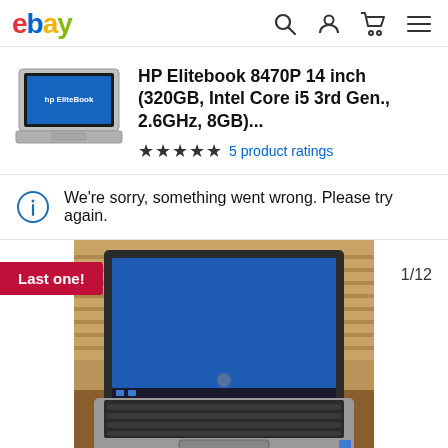ebay
HP Elitebook 8470P 14 inch (320GB, Intel Core i5 3rd Gen., 2.6GHz, 8GB)...
★★★★★ 5 product ratings
We're sorry, something went wrong. Please try again.
Last one!
1/12
[Figure (photo): HP Elitebook 8470P laptop open showing blue Windows desktop screen, placed on a wooden surface with blinds in background]